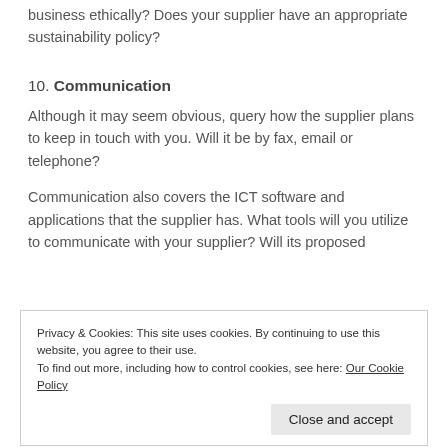business ethically? Does your supplier have an appropriate sustainability policy?
10. Communication
Although it may seem obvious, query how the supplier plans to keep in touch with you. Will it be by fax, email or telephone?
Communication also covers the ICT software and applications that the supplier has. What tools will you utilize to communicate with your supplier? Will its proposed
Privacy & Cookies: This site uses cookies. By continuing to use this website, you agree to their use.
To find out more, including how to control cookies, see here: Our Cookie Policy
consider how you will manage problem resolution and